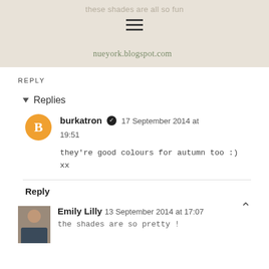these shades are all so fun - nueyork.blogspot.com
REPLY
▾ Replies
burkatron ✔ 17 September 2014 at 19:51
they're good colours for autumn too :) xx
Reply
Emily Lilly 13 September 2014 at 17:07
the shades are so pretty !